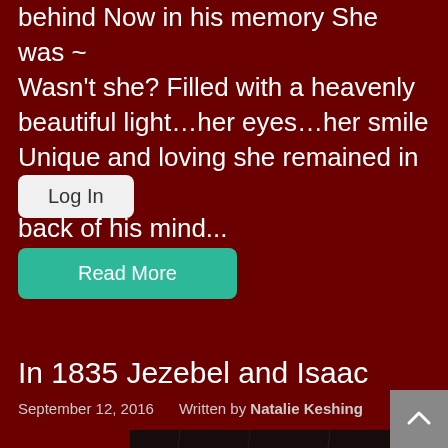behind Now in his memory She was ~ Wasn't she? Filled with a heavenly beautiful light…her eyes…her smile Unique and loving she remained in the back of his mind...
Log In
Read More
In 1835 Jezebel and Isaac
September 12, 2016     Written by Natalie Keshing
[Figure (photo): Black and white photo, appears to show a rainy or stormy scene with a light source visible]